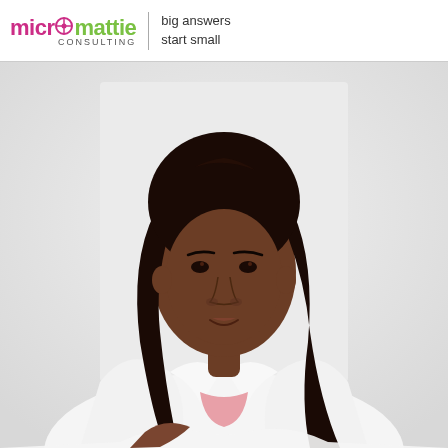micromattie CONSULTING | big answers start small
[Figure (photo): Professional headshot of a young Black woman with long dark hair, wearing a white blazer over a pink top, posing against a light background with a subtle smile]